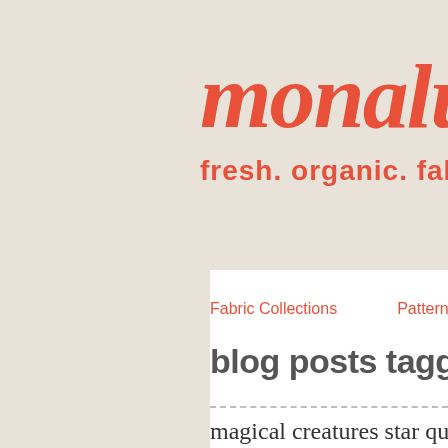monalu
fresh. organic. fabric.
Fabric Collections
Patterns
blog posts tagged 'qu
magical creatures star qu